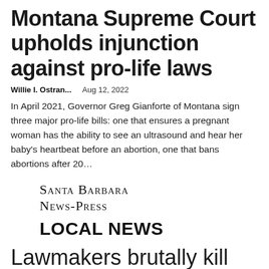Montana Supreme Court upholds injunction against pro-life laws
Willie I. Ostran...    Aug 12, 2022
In April 2021, Governor Greg Gianforte of Montana sign three major pro-life bills: one that ensures a pregnant woman has the ability to see an ultrasound and hear her baby's heartbeat before an abortion, one that bans abortions after 20...
[Figure (logo): Santa Barbara News-Press logo in small-caps serif font]
LOCAL NEWS
Lawmakers brutally kill